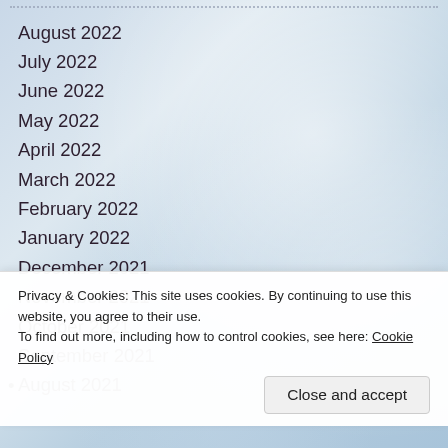August 2022
July 2022
June 2022
May 2022
April 2022
March 2022
February 2022
January 2022
December 2021
November 2021
October 2021
September 2021
August 2021
Privacy & Cookies: This site uses cookies. By continuing to use this website, you agree to their use.
To find out more, including how to control cookies, see here: Cookie Policy
Close and accept